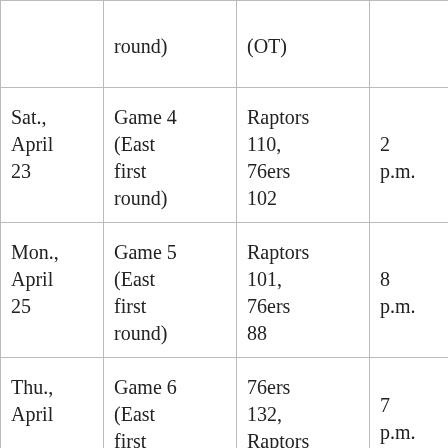| Date | Game | Result | Time | TV | Location |
| --- | --- | --- | --- | --- | --- |
|  | round) | (OT) |  |  |  |
| Sat., April 23 | Game 4 (East first round) | Raptors 110, 76ers 102 | 2 p.m. | TNT | To |
| Mon., April 25 | Game 5 (East first round) | Raptors 101, 76ers 88 | 8 p.m. | NBATV | Ph |
| Thu., April | Game 6 (East first | 76ers 132, Raptors | 7 p.m. | NBATV | To |